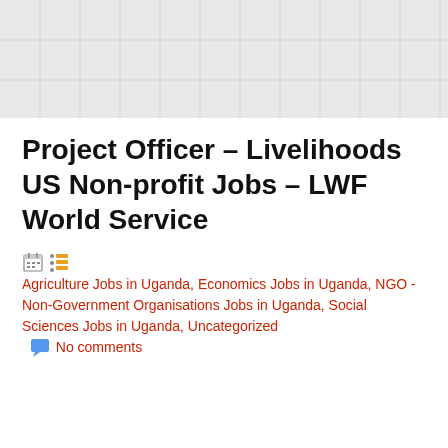[Figure (other): Gray grid/graph paper pattern banner at top of page]
Project Officer – Livelihoods US Non-profit Jobs – LWF World Service
Agriculture Jobs in Uganda, Economics Jobs in Uganda, NGO - Non-Government Organisations Jobs in Uganda, Social Sciences Jobs in Uganda, Uncategorized   No comments